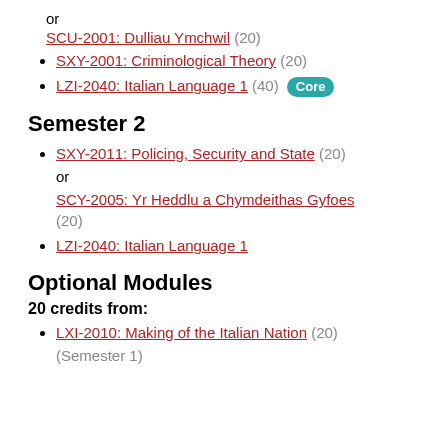or
SCU-2001: Dulliau Ymchwil (20)
SXY-2001: Criminological Theory (20)
LZI-2040: Italian Language 1 (40) Core
Semester 2
SXY-2011: Policing, Security and State (20)
or
SCY-2005: Yr Heddlu a Chymdeithas Gyfoes (20)
LZI-2040: Italian Language 1
Optional Modules
20 credits from:
LXI-2010: Making of the Italian Nation (20)
(Semester 1)